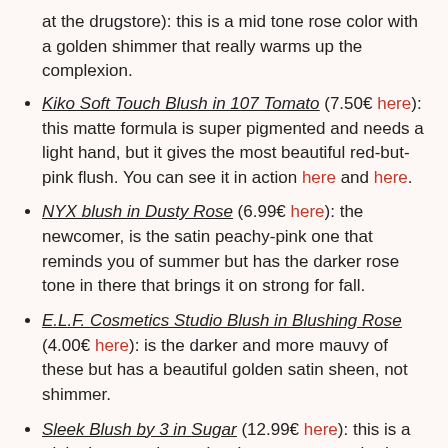at the drugstore): this is a mid tone rose color with a golden shimmer that really warms up the complexion.
Kiko Soft Touch Blush in 107 Tomato (7.50€ here): this matte formula is super pigmented and needs a light hand, but it gives the most beautiful red-but-pink flush. You can see it in action here and here.
NYX blush in Dusty Rose (6.99€ here): the newcomer, is the satin peachy-pink one that reminds you of summer but has the darker rose tone in there that brings it on strong for fall.
E.L.F. Cosmetics Studio Blush in Blushing Rose (4.00€ here): is the darker and more mauvy of these but has a beautiful golden satin sheen, not shimmer.
Sleek Blush by 3 in Sugar (12.99€ here): this is a triple threat and contains three gorgeous shades for fall. The first from the left is a matte dark red that is not too pigmented and just looks vampy on the cheeks (see it here), the second looks the scariest and gives a rusty color with gold shimmer and finally the third is a matte